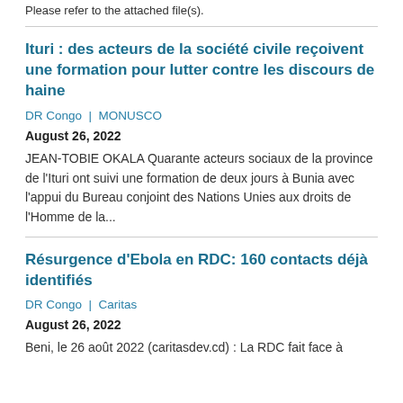Please refer to the attached file(s).
Ituri : des acteurs de la société civile reçoivent une formation pour lutter contre les discours de haine
DR Congo  |  MONUSCO
August 26, 2022
JEAN-TOBIE OKALA Quarante acteurs sociaux de la province de l'Ituri ont suivi une formation de deux jours à Bunia avec l'appui du Bureau conjoint des Nations Unies aux droits de l'Homme de la...
Résurgence d'Ebola en RDC: 160 contacts déjà identifiés
DR Congo  |  Caritas
August 26, 2022
Beni, le 26 août 2022 (caritasdev.cd) : La RDC fait face à